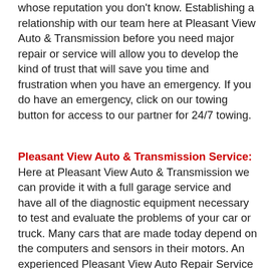whose reputation you don't know. Establishing a relationship with our team here at Pleasant View Auto & Transmission before you need major repair or service will allow you to develop the kind of trust that will save you time and frustration when you have an emergency. If you do have an emergency, click on our towing button for access to our partner for 24/7 towing.
Pleasant View Auto & Transmission Service: Here at Pleasant View Auto & Transmission we can provide it with a full garage service and have all of the diagnostic equipment necessary to test and evaluate the problems of your car or truck. Many cars that are made today depend on the computers and sensors in their motors. An experienced Pleasant View Auto Repair Service Garage, we regularly update the equipment used for testing and repairing vehicles so that we are able to handle any problems with the computers and sensors of your car. They are constantly updated on new techniques and products that will...